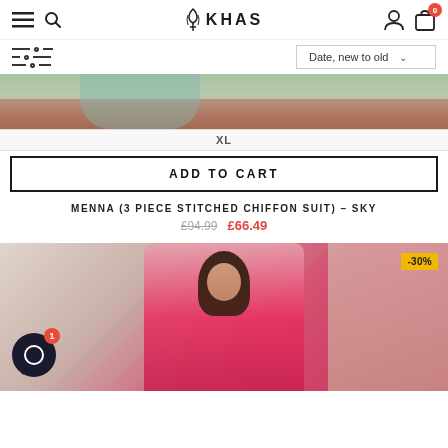KHAS - navigation header with menu, search, account and cart icons
Date, new to old
[Figure (photo): Top portion of a fashion product photo showing a model wearing a sky-colored chiffon suit, with a size XL selector and Add to Cart button below]
XL
ADD TO CART
MENNA (3 PIECE STITCHED CHIFFON SUIT) – SKY
£94.99  £66.49
[Figure (photo): Bottom fashion product photo showing a model in a hot pink ruffled dress with a -30% discount badge and a chat widget icon]